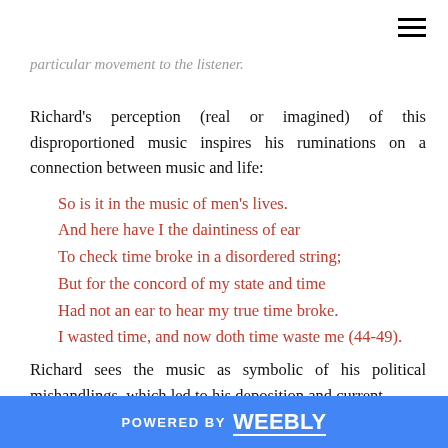...particular movement to the listener.
Richard's perception (real or imagined) of this disproportioned music inspires his ruminations on a connection between music and life:
So is it in the music of men's lives.
And here have I the daintiness of ear
To check time broke in a disordered string;
But for the concord of my state and time
Had not an ear to hear my true time broke.
I wasted time, and now doth time waste me (44-49).
Richard sees the music as symbolic of his political mishandlings, which led to his deposition and current
POWERED BY weebly